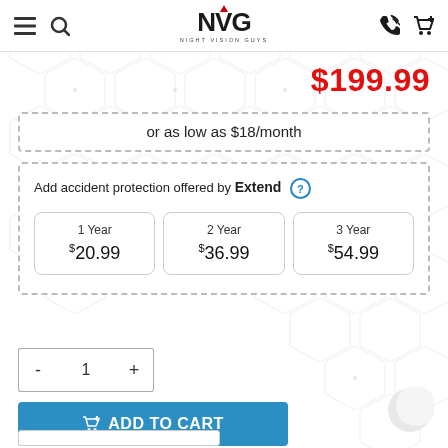NVG - Night Vision Guys
$199.99
or as low as $18/month
Add accident protection offered by Extend
| Plan | Price |
| --- | --- |
| 1 Year | $20.99 |
| 2 Year | $36.99 |
| 3 Year | $54.99 |
Quantity: 1
ADD TO CART